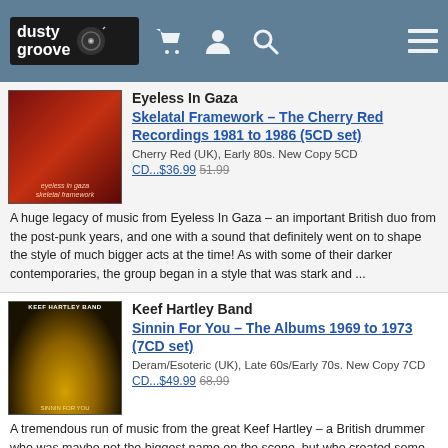dusty groove [header with cart, user, search, menu icons]
Eyeless In Gaza
Skelatal Framework – The Cherry Red Recordings 1981 to 1986 (5CD set)
Cherry Red (UK), Early 80s. New Copy 5CD
CD...$36.99 51.99
A huge legacy of music from Eyeless In Gaza – an important British duo from the post-punk years, and one with a sound that definitely went on to shape the style of much bigger acts at the time! As with some of their darker contemporaries, the group began in a style that was stark and ...
Keef Hartley Band
Sinnin For You – The Albums 1969 to 1973 (7CD set)
Deram/Esoteric (UK), Late 60s/Early 70s. New Copy 7CD
CD...$49.99 68.99
A tremendous run of music from the great Keef Hartley – a British drummer who was maybe not the biggest name on the scene, but who created some wonderfully groovy music on the albums in this set! The records are a brilliant blend of jazz and rock elements, but in ways that are so different ...
Godley & Creme
Frabjous Days – The Secret World Of Godley & Creme 1967 to 1969
Marmalade/Grapefruit (UK), Late 60s. New Copy